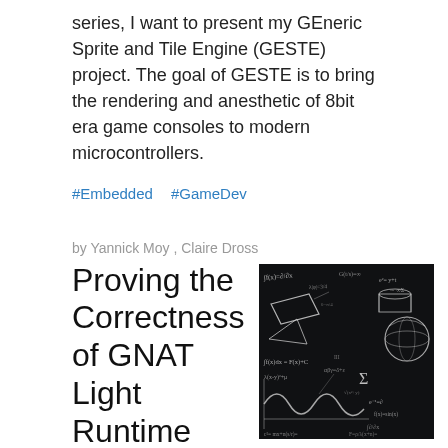series, I want to present my GEneric Sprite and Tile Engine (GESTE) project. The goal of GESTE is to bring the rendering and anesthetic of 8bit era game consoles to modern microcontrollers.
#Embedded  #GameDev
by Yannick Moy , Claire Dross
Proving the Correctness of GNAT Light Runtime Library
[Figure (photo): Blackboard covered with handwritten mathematical equations and diagrams on a dark background]
The GNAT light runtime library is a version of the runtime library targeted at embedded platforms and certification, which has been certified for use